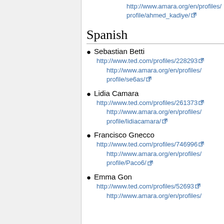http://www.amara.org/en/profiles/profile/ahmed_kadiye/
Spanish
Sebastian Betti
http://www.ted.com/profiles/228293
http://www.amara.org/en/profiles/profile/se6as/
Lidia Camara
http://www.ted.com/profiles/261373
http://www.amara.org/en/profiles/profile/lidiacamara/
Francisco Gnecco
http://www.ted.com/profiles/746996
http://www.amara.org/en/profiles/profile/Paco6/
Emma Gon
http://www.ted.com/profiles/52693
http://www.amara.org/en/profiles/